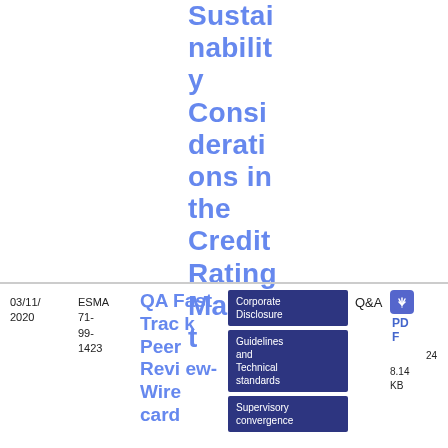Sustainability Considerations in the Credit Rating Market
03/11/2020
ESMA 71-99-1423
QA Fast Track Peer Review-Wirecard
Q&A
Corporate Disclosure
Guidelines and Technical standards
Supervisory convergence
PDF
24 8.14 KB